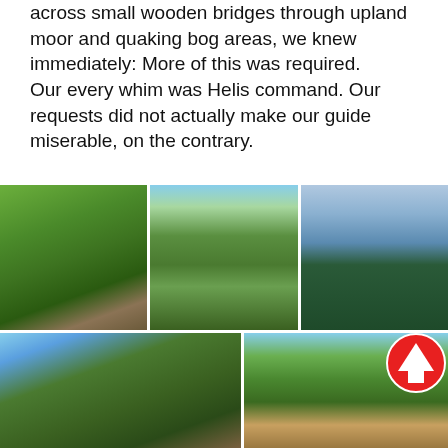across small wooden bridges through upland moor and quaking bog areas, we knew immediately: More of this was required.
Our every whim was Helis command. Our requests did not actually make our guide miserable, on the contrary.
[Figure (photo): Three mountain biking photos in a horizontal row: left shows a ski chairlift on a green hillside, center shows two mountain bikers on a forest trail with mountains behind, right shows a forest with a blue lake and mountains in background.]
[Figure (photo): Two mountain biking photos in a horizontal row: left shows a biker from low angle with bright sky, right shows a trail signpost in forest with a mountain biker and mountains in background. A red circular arrow badge overlays the top-right corner.]